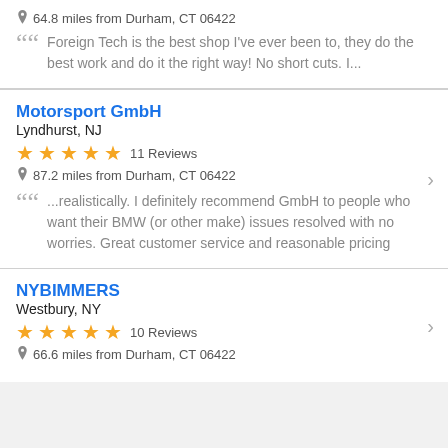64.8 miles from Durham, CT 06422
Foreign Tech is the best shop I've ever been to, they do the best work and do it the right way! No short cuts. I...
Motorsport GmbH
Lyndhurst, NJ
★★★★★ 11 Reviews
87.2 miles from Durham, CT 06422
...realistically. I definitely recommend GmbH to people who want their BMW (or other make) issues resolved with no worries. Great customer service and reasonable pricing
NYBIMMERS
Westbury, NY
★★★★★ 10 Reviews
66.6 miles from Durham, CT 06422